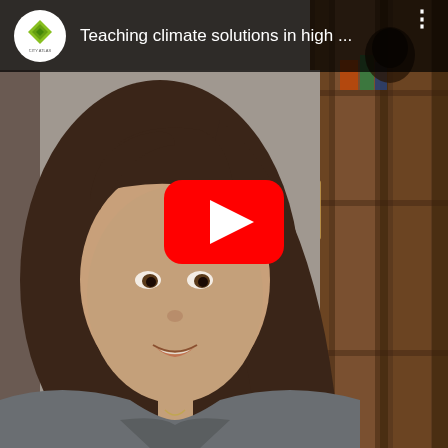[Figure (screenshot): YouTube video thumbnail showing a young woman with long brown hair speaking to camera, with a bookshelf in the background. The YouTube play button overlay is visible in the center. The top bar shows a City Atlas channel logo (green diamond/leaf icon on white circle) and the title 'Teaching climate solutions in high ...' with a three-dot menu icon.]